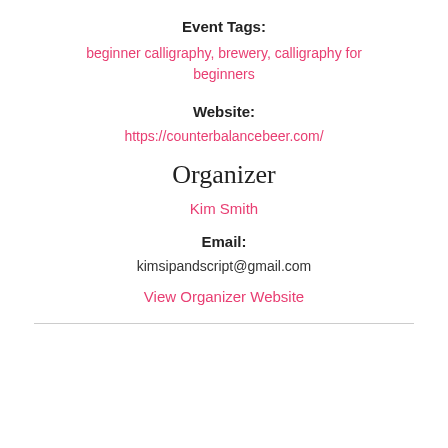Event Tags:
beginner calligraphy, brewery, calligraphy for beginners
Website:
https://counterbalancebeer.com/
Organizer
Kim Smith
Email:
kimsipandscript@gmail.com
View Organizer Website